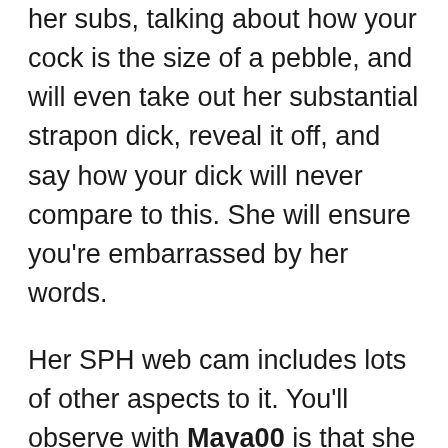her subs, talking about how your cock is the size of a pebble, and will even take out her substantial strapon dick, reveal it off, and say how your dick will never compare to this. She will ensure you're embarrassed by her words.
Her SPH web cam includes lots of other aspects to it. You'll observe with Maya00 is that she incorporates all that she can into these. She does like to delight in comparing your penis to other men, talking about how big and pleasing they are, and that, in turn, will absolutely humiliate you.